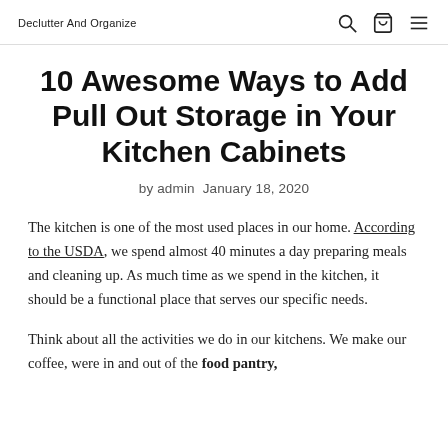Declutter And Organize
10 Awesome Ways to Add Pull Out Storage in Your Kitchen Cabinets
by admin  January 18, 2020
The kitchen is one of the most used places in our home. According to the USDA, we spend almost 40 minutes a day preparing meals and cleaning up. As much time as we spend in the kitchen, it should be a functional place that serves our specific needs.
Think about all the activities we do in our kitchens. We make our coffee, were in and out of the food pantry,